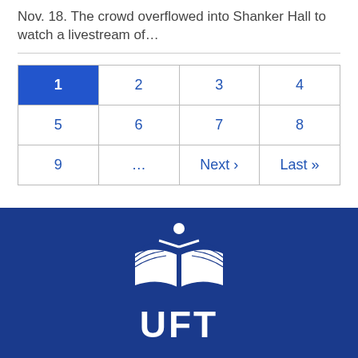Nov. 18. The crowd overflowed into Shanker Hall to watch a livestream of…
| 1 | 2 | 3 | 4 |
| 5 | 6 | 7 | 8 |
| 9 | … | Next › | Last » |
[Figure (logo): UFT (United Federation of Teachers) logo — white open book with figure above it and 'UFT' text, on dark blue background]